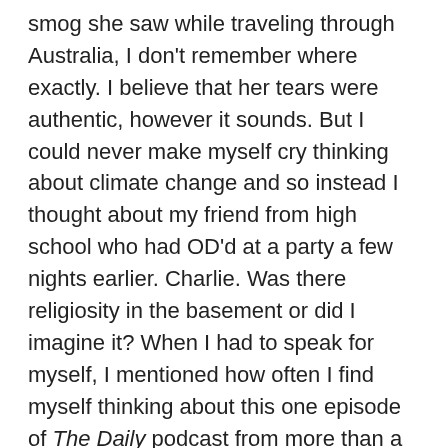smog she saw while traveling through Australia, I don't remember where exactly. I believe that her tears were authentic, however it sounds. But I could never make myself cry thinking about climate change and so instead I thought about my friend from high school who had OD'd at a party a few nights earlier. Charlie. Was there religiosity in the basement or did I imagine it? When I had to speak for myself, I mentioned how often I find myself thinking about this one episode of The Daily podcast from more than a year ago. As Michael Barbaro detailed the predictions of the UN's damning climate report, the impending extinctions and fallout, the segment was so heavily scored. A stringy symphony swelled and as I stood listening through earbuds on a city bus, my eyes were wet with surprising tears. And from then on I never forgot how